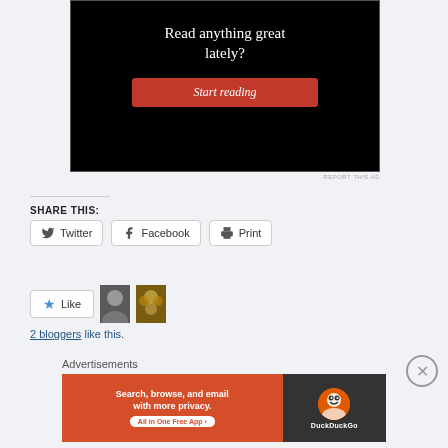[Figure (screenshot): Advertisement banner: black background with white serif text 'Read anything great lately?' and a red 'Start reading' button]
REPORT THIS AD
SHARE THIS:
Twitter   Facebook   Print
Like
2 bloggers like this.
Advertisements
[Figure (screenshot): DuckDuckGo advertisement: orange/red background with text 'Search, browse, and email with more privacy. All in One Free App' and DuckDuckGo logo on dark right panel]